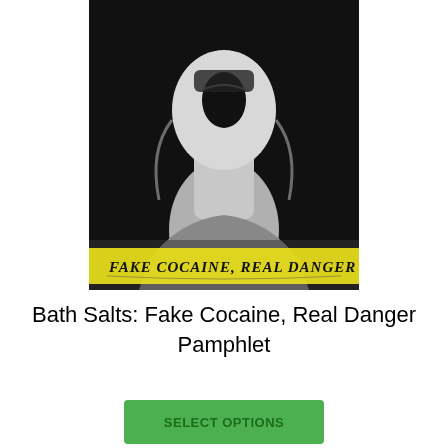[Figure (illustration): Black and white dramatic photo of a figure with head tilted back, mouth open in a scream or anguish, with a yellow highlighted banner at the bottom reading 'Fake Cocaine, Real Danger' in handwritten-style font. Image is the cover of a pamphlet.]
Bath Salts: Fake Cocaine, Real Danger Pamphlet
SELECT OPTIONS